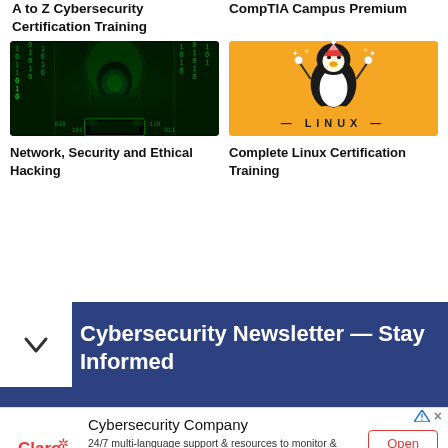A to Z Cybersecurity Certification Training
CompTIA Campus Premium
[Figure (photo): Hacker in a hoodie with green digital matrix background - cybersecurity themed image]
[Figure (illustration): Linux penguin mascot on orange background with LINUX text]
Network, Security and Ethical Hacking
Complete Linux Certification Training
Cybersecurity Newsletter — Stay Informed
Cybersecurity Company
24/7 multi-language support & resources to monitor & manage your cybersecurity environment Claro EnterpriseSolutions